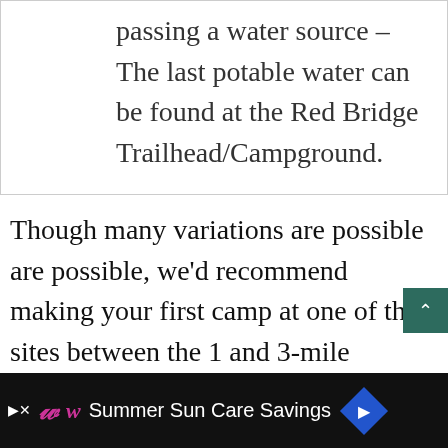passing a water source – The last potable water can be found at the Red Bridge Trailhead/Campground.
Though many variations are possible are possible, we'd recommend making your first camp at one of the sites between the 1 and 3-mile markers south of Seaton Creek, and then your second camp at the Red Hill Lookout